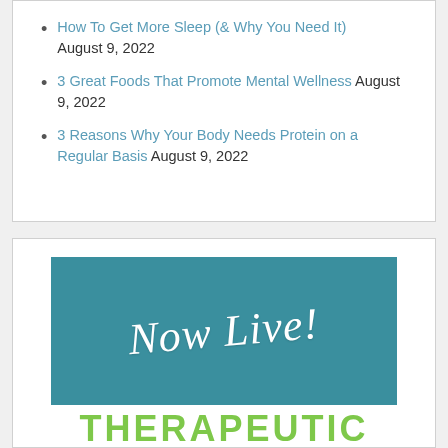How To Get More Sleep (& Why You Need It) August 9, 2022
3 Great Foods That Promote Mental Wellness August 9, 2022
3 Reasons Why Your Body Needs Protein on a Regular Basis August 9, 2022
[Figure (illustration): Teal banner with cursive white text 'Now Live!' above large green bold text 'THERAPEUTIC']